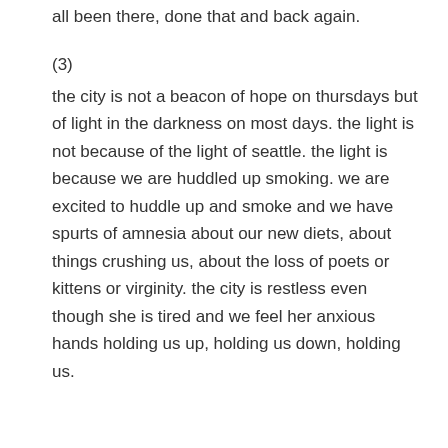all been there, done that and back again.
(3)
the city is not a beacon of hope on thursdays but of light in the darkness on most days. the light is not because of the light of seattle. the light is because we are huddled up smoking. we are excited to huddle up and smoke and we have spurts of amnesia about our new diets, about things crushing us, about the loss of poets or kittens or virginity. the city is restless even though she is tired and we feel her anxious hands holding us up, holding us down, holding us.